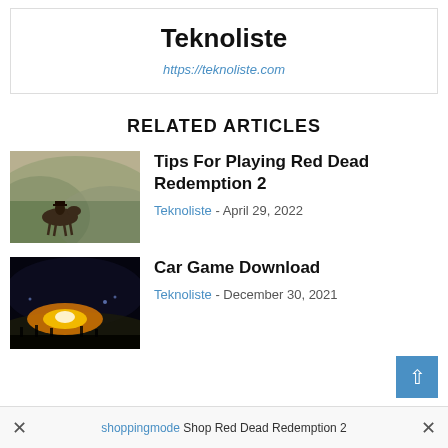Teknoliste
https://teknoliste.com
RELATED ARTICLES
[Figure (photo): A cowboy riding a horse through a misty mountain landscape (Red Dead Redemption 2 screenshot)]
Tips For Playing Red Dead Redemption 2
Teknoliste - April 29, 2022
[Figure (photo): A dark dramatic scene with glowing explosion/UFO light in the sky (Car Game Download)]
Car Game Download
Teknoliste - December 30, 2021
× shoppingmode  Shop Red Dead Redemption 2 ×